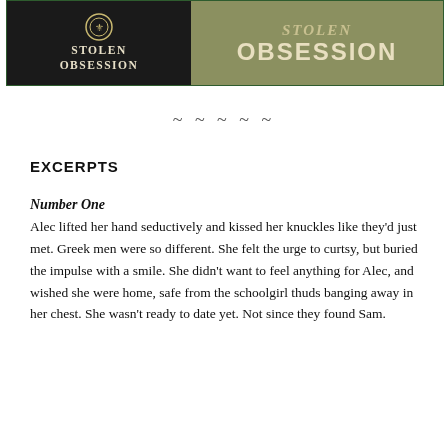[Figure (illustration): Book cover image for 'Stolen Obsession'. Left half shows a dark background with decorative coin/medallion icon and bold text 'STOLEN OBSESSION' in cream letters. Right half shows an olive/khaki background with 'STOLEN OBSESSION' in large bold serif and sans-serif text.]
~~~~~
EXCERPTS
Number One
Alec lifted her hand seductively and kissed her knuckles like they'd just met. Greek men were so different. She felt the urge to curtsy, but buried the impulse with a smile. She didn't want to feel anything for Alec, and wished she were home, safe from the schoolgirl thuds banging away in her chest. She wasn't ready to date yet. Not since they found Sam.